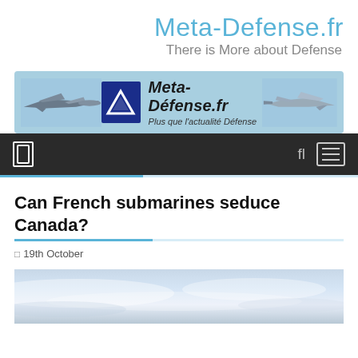Meta-Defense.fr
There is More about Defense
[Figure (logo): Meta-Défense.fr website banner with two fighter jets on either side, a blue logo box with mountain/triangle symbol, site name Meta-Défense.fr in bold italic, and tagline 'Plus que l'actualité Défense']
[Figure (screenshot): Dark navigation bar with a rectangular icon on the left, and search/hamburger menu icons on the right]
Can French submarines seduce Canada?
19th October
[Figure (photo): Partial view of sky with clouds, light blue and white tones, bottom of page]